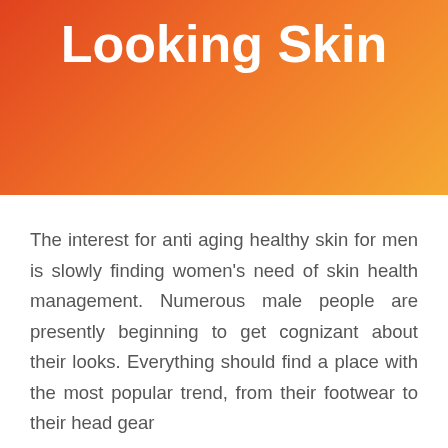Looking Skin
The interest for anti aging healthy skin for men is slowly finding women's need of skin health management. Numerous male people are presently beginning to get cognizant about their looks. Everything should find a place with the most popular trend, from their footwear to their head gear